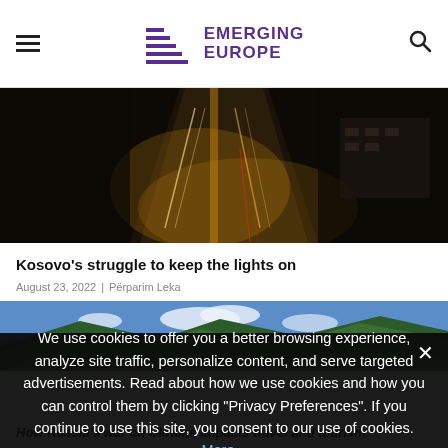Emerging Europe
[Figure (photo): Aerial night view of a road with car lights and traffic]
Kosovo's struggle to keep the lights on
August 23, 2022  |  Përparim Leka
[Figure (photo): Aerial view of green rolling hills with blue sky and clouds]
We use cookies to offer you a better browsing experience, analyze site traffic, personalize content, and serve targeted advertisements. Read about how we use cookies and how you can control them by clicking "Privacy Preferences". If you continue to use this site, you consent to our use of cookies. More...
How Russia's war on Ukraine impacts travel and tourism